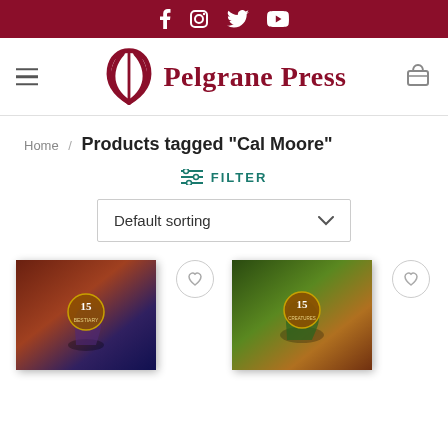Social bar with Facebook, Instagram, Twitter, YouTube icons
[Figure (logo): Pelgrane Press logo with stylized P symbol and text]
Home / Products tagged “Cal Moore”
FILTER
Default sorting
[Figure (photo): Two fantasy book covers with 15 badge emblems, one dark red/blue tones and one green/gold tones]